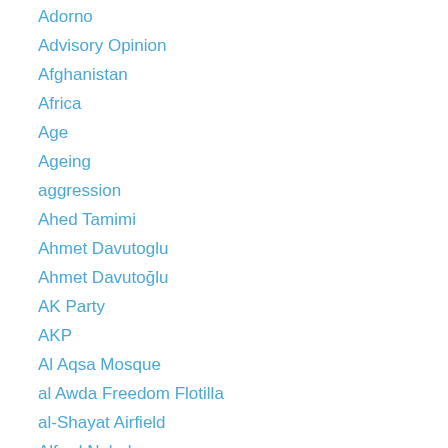Adorno
Advisory Opinion
Afghanistan
Africa
Age
Ageing
aggression
Ahed Tamimi
Ahmet Davutoglu
Ahmet Davutoğlu
AK Party
AKP
Al Aqsa Mosque
al Awda Freedom Flotilla
al-Shayat Airfield
Alfred Nobel
Algeria
Ali Khamenei
Ali Mazrui
alliance